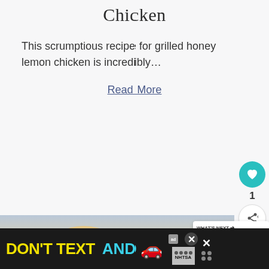Chicken
This scrumptious recipe for grilled honey lemon chicken is incredibly…
Read More
[Figure (photo): Photo of grilled honey lemon chicken in a dark plate with wooden background, partially visible]
[Figure (screenshot): What's Next overlay showing '7 Delicious Father's Day...' with thumbnail]
[Figure (infographic): NHTSA 'DON'T TEXT AND' ad banner at the bottom with car emoji and NHTSA logo]